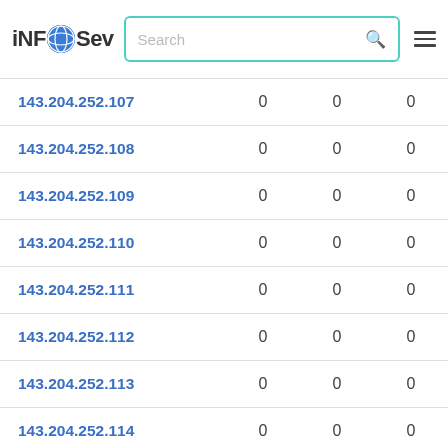iNFOSev | Search
| IP Address |  |  |  |
| --- | --- | --- | --- |
| 143.204.252.107 | 0 | 0 | 0 |
| 143.204.252.108 | 0 | 0 | 0 |
| 143.204.252.109 | 0 | 0 | 0 |
| 143.204.252.110 | 0 | 0 | 0 |
| 143.204.252.111 | 0 | 0 | 0 |
| 143.204.252.112 | 0 | 0 | 0 |
| 143.204.252.113 | 0 | 0 | 0 |
| 143.204.252.114 | 0 | 0 | 0 |
| 143.204.252.115 | 0 | 0 | 0 |
| 143.204.252.116 | 0 | 0 | 0 |